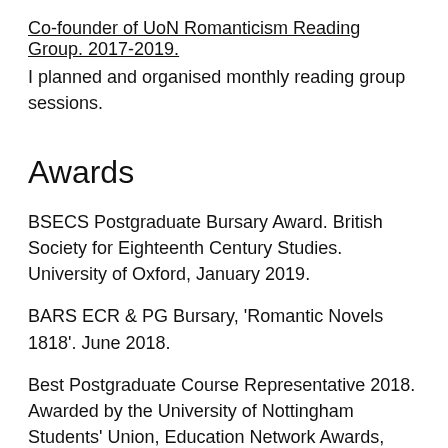Co-founder of UoN Romanticism Reading Group. 2017-2019.
I planned and organised monthly reading group sessions.
Awards
BSECS Postgraduate Bursary Award. British Society for Eighteenth Century Studies. University of Oxford, January 2019.
BARS ECR & PG Bursary, 'Romantic Novels 1818'. June 2018.
Best Postgraduate Course Representative 2018. Awarded by the University of Nottingham Students' Union, Education Network Awards, June 2018.
'Best Newcomer', informal prize of signed book.